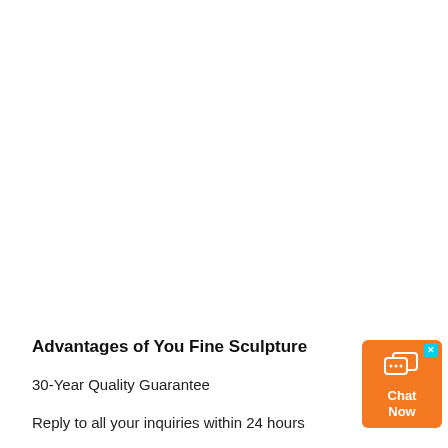Advantages of You Fine Sculpture
30-Year Quality Guarantee
Reply to all your inquiries within 24 hours
[Figure (infographic): Orange chat widget with speech bubble icon and 'Chat Now' text, with a cyan close button in the top-right corner]